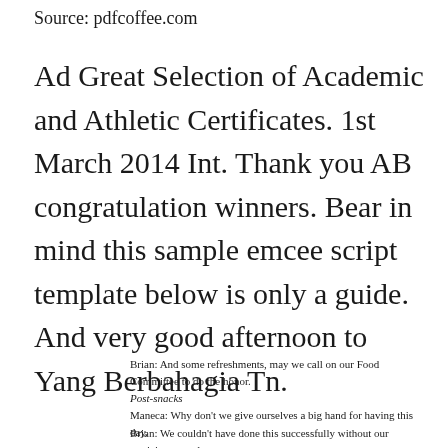Source: pdfcoffee.com
Ad Great Selection of Academic and Athletic Certificates. 1st March 2014 Int. Thank you AB congratulation winners. Bear in mind this sample emcee script template below is only a guide. And very good afternoon to Yang Berbahagia Tn.
Brian: And some refreshments, may we call on our Food Committee to do the honor.
Post-snacks
Maneca: Why don't we give ourselves a big hand for having this day.
Brian: We couldn't have done this successfully without our participants and our